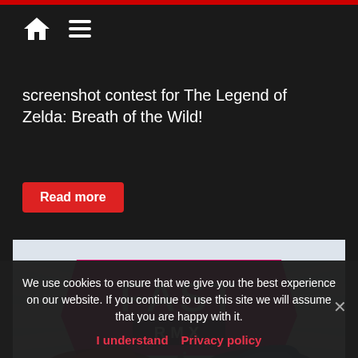Navigation bar with home and menu icons
screenshot contest for The Legend of Zelda: Breath of the Wild!
Read more
[Figure (photo): FAST RMX racing game promotional image showing futuristic racing cars with the FAST RMX logo on a pink/magenta chevron background]
We use cookies to ensure that we give you the best experience on our website. If you continue to use this site we will assume that you are happy with it.
I understand   Privacy policy